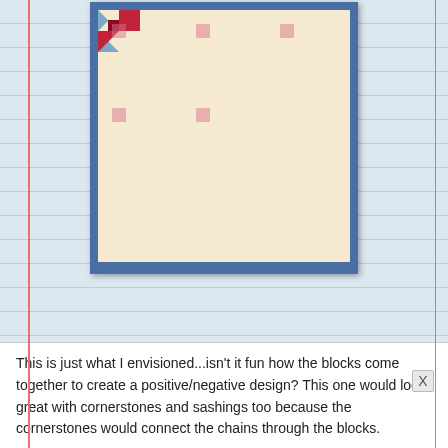[Figure (illustration): A quilt block pattern arranged in a 12x12 grid showing a patriotic red, white, and blue design with star/pinwheel blocks creating a positive/negative design. The quilt has a blue border frame.]
This is just what I envisioned...isn't it fun how the blocks come together to create a positive/negative design?  This one would look great with cornerstones and sashings too because the cornerstones would connect the chains through the blocks.